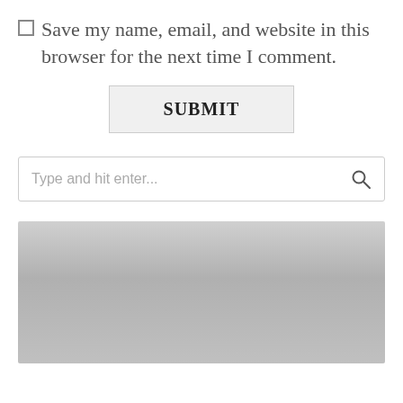Save my name, email, and website in this browser for the next time I comment.
SUBMIT
Type and hit enter...
[Figure (other): A gray gradient rectangular image block at the bottom of the page]